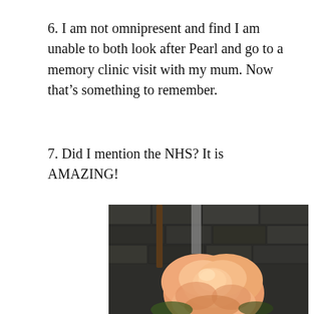6. I am not omnipresent and find I am unable to both look after Pearl and go to a memory clinic visit with my mum. Now that’s something to remember.
7. Did I mention the NHS? It is AMAZING!
[Figure (photo): A close-up photograph of a peach/salmon-coloured rose bloom in front of a dark stone wall background]